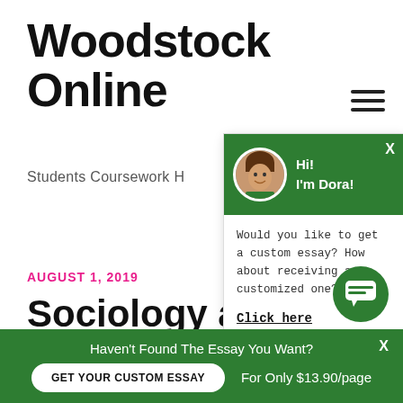Woodstock Online
Students Coursework H
AUGUST 1, 2019
[Figure (screenshot): Chat popup with green header showing avatar photo and 'Hi! I'm Dora!' greeting, and chat body with text 'Would you like to get a custom essay? How about receiving a customized one?' and a 'Click here' link]
Sociology and Values
[Figure (other): Green circular chat bubble icon button]
Haven't Found The Essay You Want?
GET YOUR CUSTOM ESSAY
For Only $13.90/page